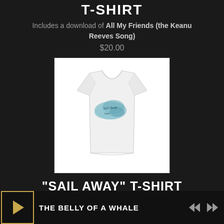T-SHIRT
Includes a download of All My Friends (the Keanu Reeves Song)
$20.00
[Figure (photo): White t-shirt with a teal/blue watercolor splash graphic and handwritten text on the chest area]
"SAIL AWAY" T-SHIRT
Includes a download of Paper Boats
$20.00
THE BELLY OF A WHALE